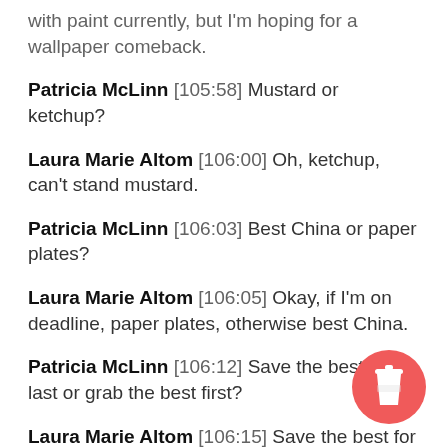with paint currently, but I'm hoping for a wallpaper comeback.
Patricia McLinn [105:58] Mustard or ketchup?
Laura Marie Altom [106:00] Oh, ketchup, can't stand mustard.
Patricia McLinn [106:03] Best China or paper plates?
Laura Marie Altom [106:05] Okay, if I'm on deadline, paper plates, otherwise best China.
Patricia McLinn [106:12] Save the best for last or grab the best first?
Laura Marie Altom [106:15] Save the best for